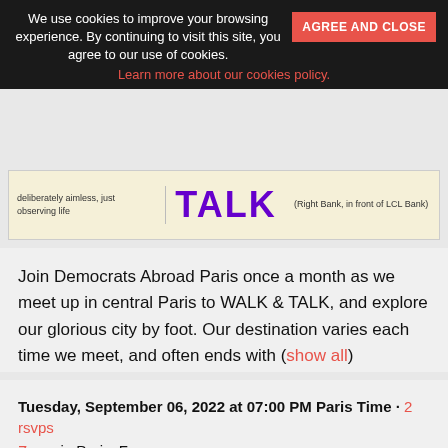We use cookies to improve your browsing experience. By continuing to visit this site, you agree to our use of cookies.
AGREE AND CLOSE
Learn more about our cookies policy.
[Figure (other): Event banner image showing text: 'deliberately aimless, just observing life', 'TALK' in purple large letters, and location text (Right Bank, in front of LCL Bank)]
Join Democrats Abroad Paris once a month as we meet up in central Paris to WALK & TALK, and explore our glorious city by foot. Our destination varies each time we meet, and often ends with (show all)
RSVP
Tuesday, September 06, 2022 at 07:00 PM Paris Time · 2 rsvps
Zoom in Paris, France